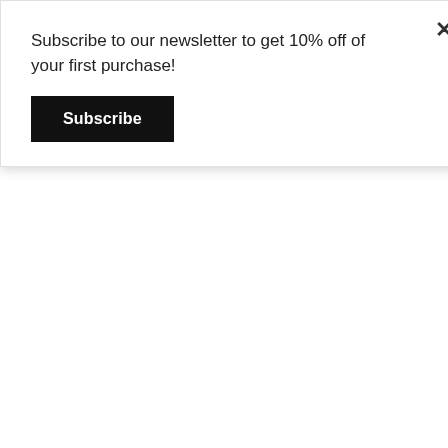Subscribe to our newsletter to get 10% off of your first purchase!
Subscribe
evening from 6 - 9 pm for a special cast on party!
Knit! We'll be knitting our sweaters together at Craft Night every Tuesday night for the duration of the KAL. If you're not local, or even if you are please join us on...
Instagram! Use the hashtags #vivariumKAL and #fancytigercrafting on your Vivarium pics so we can follow along with your progress virtually and for a chance to win a prize for:
1) Best In-Progress Photo - Gram your knittin' anytime during the KAL for a chance to receive a $25 Fancy Tiger Crafts gift card. You can share as many progress pics as you like for more chances to win! Bonus points for those that share their spring garden